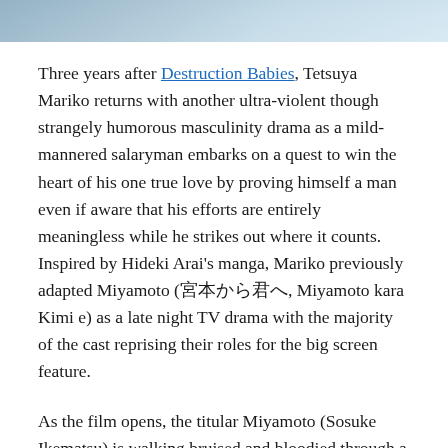[Figure (photo): Partial cropped image strip at top of page showing what appears to be people/characters, partially visible, in muted blue-grey tones.]
Three years after Destruction Babies, Tetsuya Mariko returns with another ultra-violent though strangely humorous masculinity drama as a mild-mannered salaryman embarks on a quest to win the heart of his one true love by proving himself a man even if aware that his efforts are entirely meaningless while he strikes out where it counts. Inspired by Hideki Arai's manga, Mariko previously adapted Miyamoto (宮本から君へ, Miyamoto kara Kimi e) as a late night TV drama with the majority of the cast reprising their roles for the big screen feature.
As the film opens, the titular Miyamoto (Sosuke Ikematsu) is walking bruised and bloodied through a children's park, staring at his unrecognisable face in the hazy mirror of a public bathroom. A regular salaryman, he's later taken to task by his boss (Kanji Furutachi). After all, how does he expect people to do business with him when he's lost all his front teeth and has his arm in a sling? His boss reminds him he's about to be married and will soon be a father.